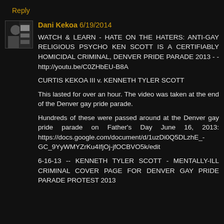Reply
Dani Kekoa 6/19/2014
WATCH & LEARN - HATE ON THE HATERS: ANTI-GAY RELIGIOUS PSYCHO KEN SCOTT IS A CERTIFIABLY HOMICIDAL CRIMINAL, DENVER PRIDE PARADE 2013 - - http://youtu.be/C0ZHbEU-B8A

CURTIS KEKOA III v. KENNETH TYLER SCOTT

This lasted for over an hour. The video was taken at the end of the Denver gay pride parade.

Hundreds of these were passed around at the Denver gay pride parade on Father's Day June 16, 2013: https://docs.google.com/document/d/1uzDi0Q5DLzhE_-GC_9YyWMYZrKu4IfjOj-jfOCBVO5k/edit

6-16-13 -- KENNETH TYLER SCOTT - MENTALLY-ILL CRIMINAL COVER PAGE FOR DENVER GAY PRIDE PARADE PROTEST 2013